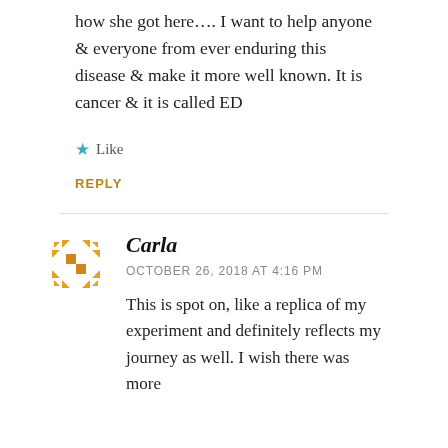how she got here…. I want to help anyone & everyone from ever enduring this disease & make it more well known. It is cancer & it is called ED
★ Like
REPLY
Carla
OCTOBER 26, 2018 AT 4:16 PM
This is spot on, like a replica of my experiment and definitely reflects my journey as well. I wish there was more